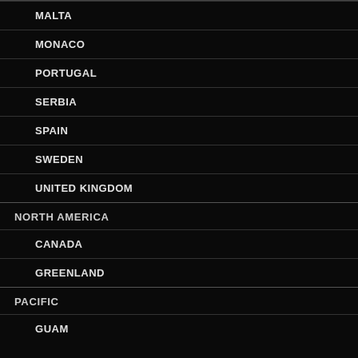MALTA
MONACO
PORTUGAL
SERBIA
SPAIN
SWEDEN
UNITED KINGDOM
NORTH AMERICA
CANADA
GREENLAND
PACIFIC
GUAM